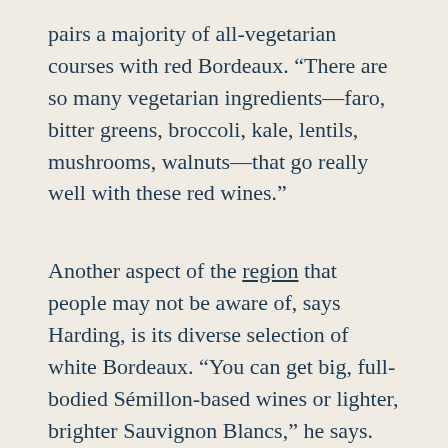pairs a majority of all-vegetarian courses with red Bordeaux. “There are so many vegetarian ingredients—faro, bitter greens, broccoli, kale, lentils, mushrooms, walnuts—that go really well with these red wines.”
Another aspect of the region that people may not be aware of, says Harding, is its diverse selection of white Bordeaux. “You can get big, full-bodied Sémillon-based wines or lighter, brighter Sauvignon Blancs,” he says. “Everybody likes Sancerre, and there are versions of white Bordeaux that are similar to Sancerre. There are some full-bodied ones